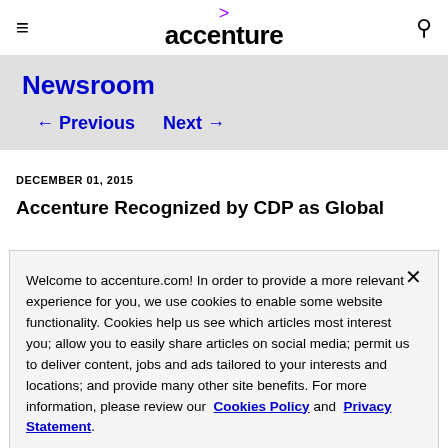accenture
Newsroom
← Previous   Next →
DECEMBER 01, 2015
Accenture Recognized by CDP as Global
Welcome to accenture.com! In order to provide a more relevant experience for you, we use cookies to enable some website functionality. Cookies help us see which articles most interest you; allow you to easily share articles on social media; permit us to deliver content, jobs and ads tailored to your interests and locations; and provide many other site benefits. For more information, please review our Cookies Policy and Privacy Statement.